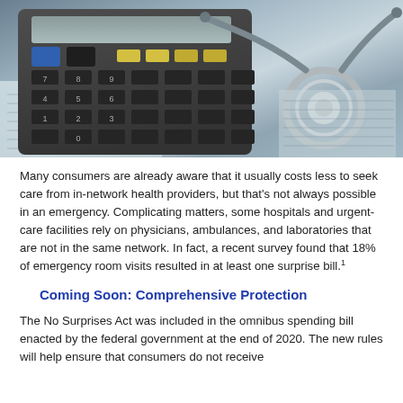[Figure (photo): Close-up photo of a calculator and a stethoscope resting on financial documents, suggesting healthcare costs.]
Many consumers are already aware that it usually costs less to seek care from in-network health providers, but that's not always possible in an emergency. Complicating matters, some hospitals and urgent-care facilities rely on physicians, ambulances, and laboratories that are not in the same network. In fact, a recent survey found that 18% of emergency room visits resulted in at least one surprise bill.¹
Coming Soon: Comprehensive Protection
The No Surprises Act was included in the omnibus spending bill enacted by the federal government at the end of 2020. The new rules will help ensure that consumers do not receive